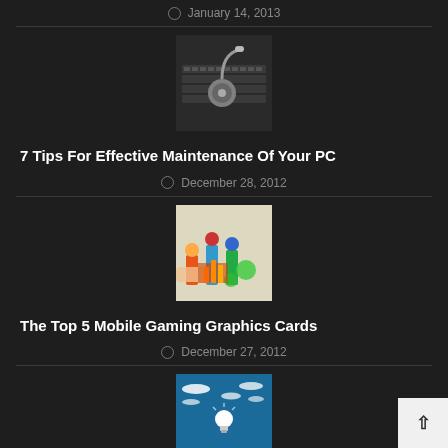January 14, 2013
[Figure (photo): Keyboard with stethoscope on top, representing PC maintenance]
7 Tips For Effective Maintenance Of Your PC
December 28, 2012
[Figure (photo): Colorful figurines and game pieces on a surface, representing mobile gaming]
The Top 5 Mobile Gaming Graphics Cards
December 27, 2012
[Figure (photo): Light bulb glowing on a blue background with white oval shapes, representing innovation or ideas]